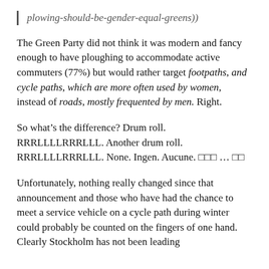plowing-should-be-gender-equal-greens))
The Green Party did not think it was modern and fancy enough to have ploughing to accommodate active commuters (77%) but would rather target footpaths, and cycle paths, which are more often used by women, instead of roads, mostly frequented by men. Right.
So what’s the difference? Drum roll. RRRLLLLRRRLLL. Another drum roll. RRRLLLLRRRLLL. None. Ingen. Aucune. □□□ … □□
Unfortunately, nothing really changed since that announcement and those who have had the chance to meet a service vehicle on a cycle path during winter could probably be counted on the fingers of one hand. Clearly Stockholm has not been leading